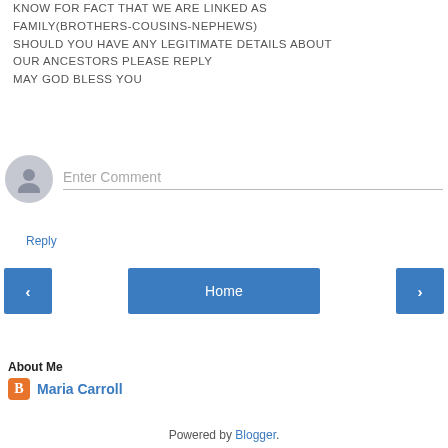KNOW FOR FACT THAT WE ARE LINKED AS FAMILY(BROTHERS-COUSINS-NEPHEWS) SHOULD YOU HAVE ANY LEGITIMATE DETAILS ABOUT OUR ANCESTORS PLEASE REPLY MAY GOD BLESS YOU
Reply
Enter Comment
Home
View web version
About Me
Maria Carroll
View my complete profile
Powered by Blogger.